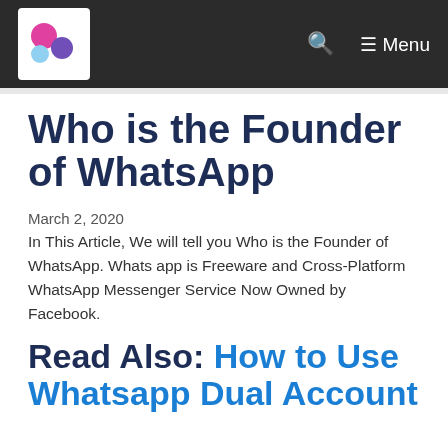Menu
Who is the Founder of WhatsApp
March 2, 2020
In This Article, We will tell you Who is the Founder of WhatsApp. Whats app is Freeware and Cross-Platform WhatsApp Messenger Service Now Owned by Facebook.
Read Also: How to Use Whatsapp Dual Account